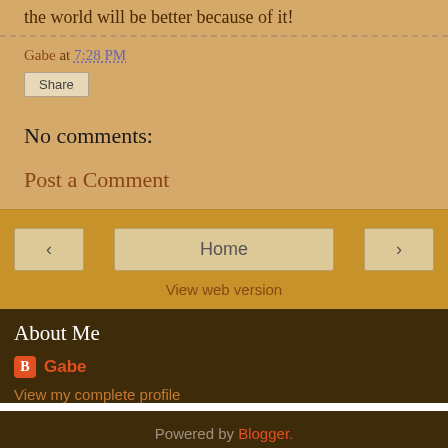the world will be better because of it!
Gabe at 7:28 PM
Share
No comments:
Post a Comment
‹  Home  ›
View web version
About Me
Gabe
View my complete profile
Powered by Blogger.